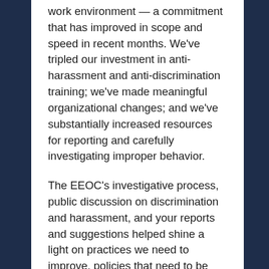work environment — a commitment that has improved in scope and speed in recent months. We've tripled our investment in anti-harassment and anti-discrimination training; we've made meaningful organizational changes; and we've substantially increased resources for reporting and carefully investigating improper behavior.
The EEOC's investigative process, public discussion on discrimination and harassment, and your reports and suggestions helped shine a light on practices we need to improve, policies that need to be strengthened, and resources we are now adding. The EEOC's review was a catalyst to sharpen our focus on the ways we can become a company others emulate as a